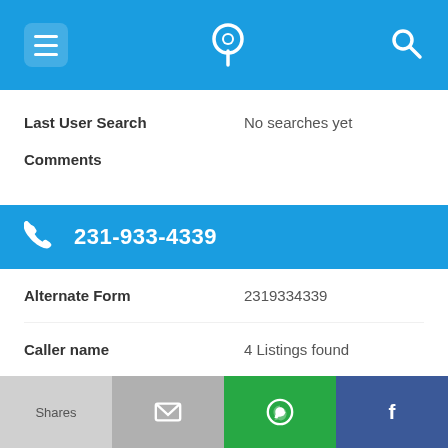App navigation bar with menu, phone locator logo, and search icons
Last User Search   No searches yet
Comments
231-933-4339
Alternate Form   2319334339
Caller name   4 Listings found
Last User Search   No searches yet
Comments
Shares | Email | WhatsApp | Facebook